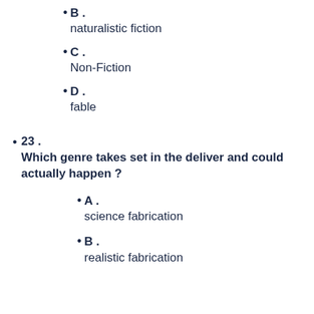B . naturalistic fiction
C . Non-Fiction
D . fable
23 . Which genre takes set in the deliver and could actually happen ?
A . science fabrication
B . realistic fabrication